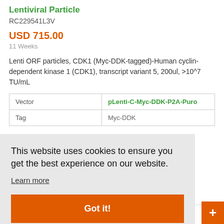Lentiviral Particle
RC229541L3V
USD 715.00
11 Weeks
Lenti ORF particles, CDK1 (Myc-DDK-tagged)-Human cyclin-dependent kinase 1 (CDK1), transcript variant 5, 200ul, >10^7 TU/mL
| Vector | Tag |
| --- | --- |
| Vector | pLenti-C-Myc-DDK-P2A-Puro |
| Tag | Myc-DDK |
This website uses cookies to ensure you get the best experience on our website.
Learn more
Got it!
CDK1 (NM_00...
Live Chat Online